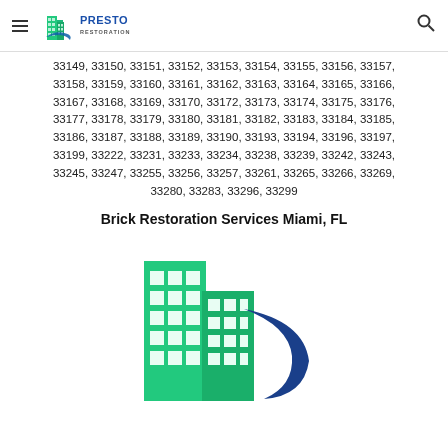Presto Restoration
33149, 33150, 33151, 33152, 33153, 33154, 33155, 33156, 33157, 33158, 33159, 33160, 33161, 33162, 33163, 33164, 33165, 33166, 33167, 33168, 33169, 33170, 33172, 33173, 33174, 33175, 33176, 33177, 33178, 33179, 33180, 33181, 33182, 33183, 33184, 33185, 33186, 33187, 33188, 33189, 33190, 33193, 33194, 33196, 33197, 33199, 33222, 33231, 33233, 33234, 33238, 33239, 33242, 33243, 33245, 33247, 33255, 33256, 33257, 33261, 33265, 33266, 33269, 33280, 33283, 33296, 33299
Brick Restoration Services Miami, FL
[Figure (logo): Presto Restoration building logo — green multi-story building with teal swoosh and blue curved element]